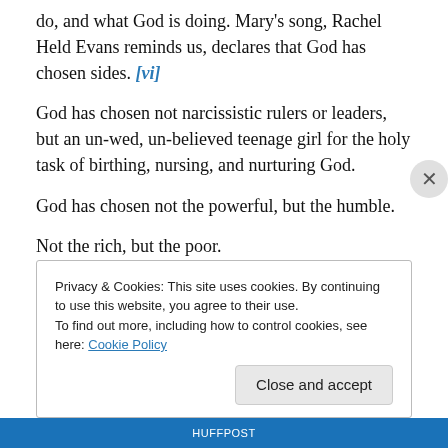do, and what God is doing. Mary's song, Rachel Held Evans reminds us, declares that God has chosen sides. [vi]
God has chosen not narcissistic rulers or leaders, but an un-wed, un-believed teenage girl for the holy task of birthing, nursing, and nurturing God.
God has chosen not the powerful, but the humble.
Not the rich, but the poor.
Privacy & Cookies: This site uses cookies. By continuing to use this website, you agree to their use.
To find out more, including how to control cookies, see here: Cookie Policy